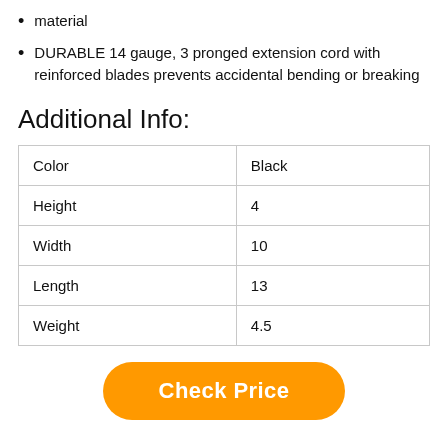material
DURABLE 14 gauge, 3 pronged extension cord with reinforced blades prevents accidental bending or breaking
Additional Info:
| Color | Black |
| Height | 4 |
| Width | 10 |
| Length | 13 |
| Weight | 4.5 |
Check Price